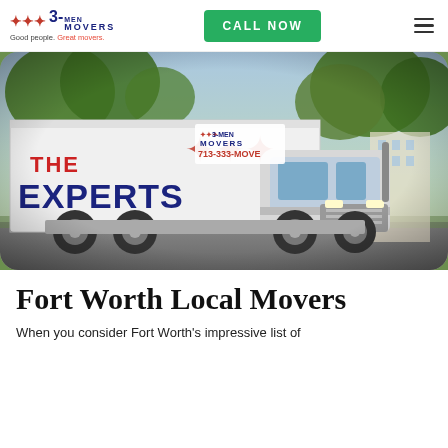[Figure (logo): 3 Men Movers logo with running figures, text '3-MEN MOVERS', tagline 'Good people. Great movers.']
CALL NOW
[Figure (photo): A white 3 Men Movers moving truck with 'THE EXPERTS' text and running figures logo on the side, parked on a suburban street with trees in the background. Phone number 713-333-MOVE visible.]
Fort Worth Local Movers
When you consider Fort Worth's impressive list of